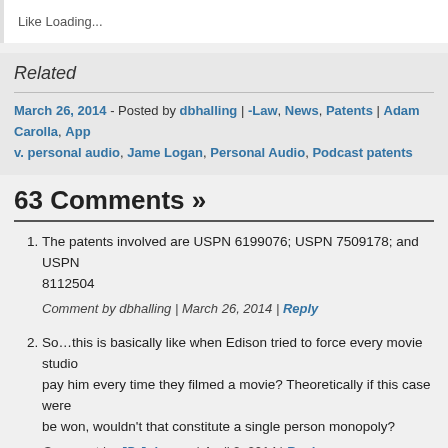Like Loading...
Related
March 26, 2014 - Posted by dbhalling | -Law, News, Patents | Adam Carolla, App v. personal audio, Jame Logan, Personal Audio, Podcast patents
63 Comments »
The patents involved are USPN 6199076; USPN 7509178; and USPN 8112504
Comment by dbhalling | March 26, 2014 | Reply
So…this is basically like when Edison tried to force every movie studio to pay him every time they filmed a movie? Theoretically if this case were to be won, wouldn't that constitute a single person monopoly?
Comment by JP Johnson | April 2, 2014 | Reply
JP Johnson,
Adam Carolla wants to be paid for every one of his performance. Patents are not Monopolies, so you clearly do not understand property rights